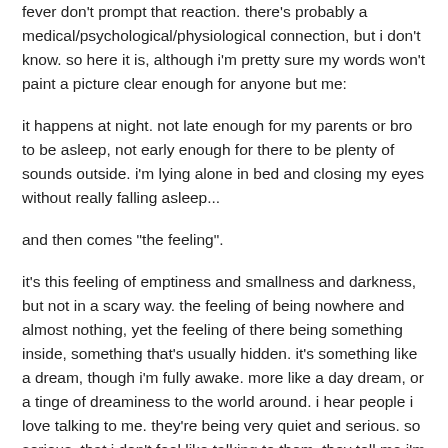fever don't prompt that reaction. there's probably a medical/psychological/physiological connection, but i don't know. so here it is, although i'm pretty sure my words won't paint a picture clear enough for anyone but me:
it happens at night. not late enough for my parents or bro to be asleep, not early enough for there to be plenty of sounds outside. i'm lying alone in bed and closing my eyes without really falling asleep...
and then comes "the feeling".
it's this feeling of emptiness and smallness and darkness, but not in a scary way. the feeling of being nowhere and almost nothing, yet the feeling of there being something inside, something that's usually hidden. it's something like a dream, though i'm fully awake. more like a day dream, or a tinge of dreaminess to the world around. i hear people i love talking to me. they're being very quiet and serious. so serious, that i don't feel like talking to them. they tell me i'm gonna be fine, and i remain quiet in response. i know i will be fine, and that this is just a fever, but i feel that even though i